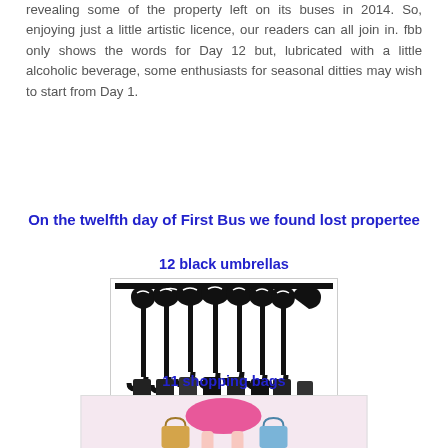revealing some of the property left on its buses in 2014. So, enjoying just a little artistic licence, our readers can all join in. fbb only shows the words for Day 12 but, lubricated with a little alcoholic beverage, some enthusiasts for seasonal ditties may wish to start from Day 1.
On the twelfth day of First Bus we found lost propertee
12 black umbrellas
[Figure (illustration): Black and white illustration of multiple black umbrellas with curved handles, drawn in bold graphic style]
11 shopping bags
[Figure (photo): Photo of a woman in a pink dress holding shopping bags]